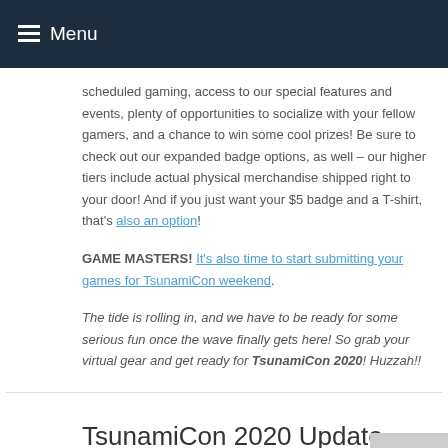Menu
scheduled gaming, access to our special features and events, plenty of opportunities to socialize with your fellow gamers, and a chance to win some cool prizes! Be sure to check out our expanded badge options, as well – our higher tiers include actual physical merchandise shipped right to your door! And if you just want your $5 badge and a T-shirt, that's also an option!
GAME MASTERS! It's also time to start submitting your games for TsunamiCon weekend.
The tide is rolling in, and we have to be ready for some serious fun once the wave finally gets here! So grab your virtual gear and get ready for TsunamiCon 2020! Huzzah!!
TsunamiCon 2020 Update
I have been